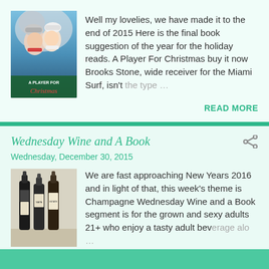[Figure (photo): Book cover for 'A Player For Christmas' showing a couple in winter clothing with snow]
Well my lovelies, we have made it to the end of 2015 Here is the final book suggestion of the year for the holiday reads. A Player For Christmas buy it now Brooks Stone, wide receiver for the Miami Surf, isn't the type ...
READ MORE
Wednesday Wine and A Book
Wednesday, December 30, 2015
[Figure (photo): Photo of wine bottles on a table]
We are fast approaching New Years 2016 and in light of that, this week's theme is Champagne Wednesday Wine and a Book segment is for the grown and sexy adults 21+ who enjoy a tasty adult beverage alo ...